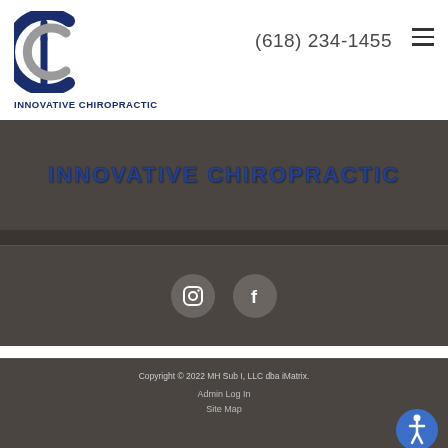[Figure (logo): Innovative Chiropractic logo with stylized 'i' and 'C' in navy blue and gray]
(618) 234-1455
INNOVATIVE CHIROPRACTIC
[Figure (illustration): Social media icons: Instagram and Facebook circles]
Copyright © 2022 MH Sub I, LLC dba iMatrix.
Admin Log In
Site Map